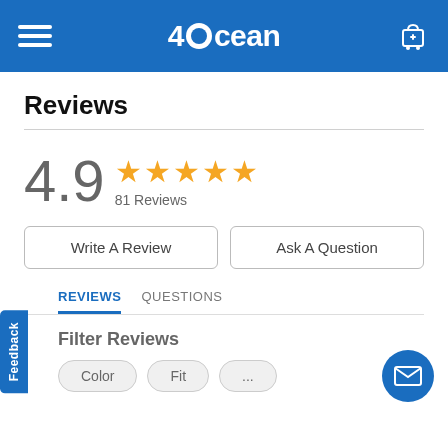4Ocean
Reviews
4.9 ★★★★★ 81 Reviews
Write A Review
Ask A Question
REVIEWS  QUESTIONS
Filter Reviews
Color  Fit  ...
Feedback